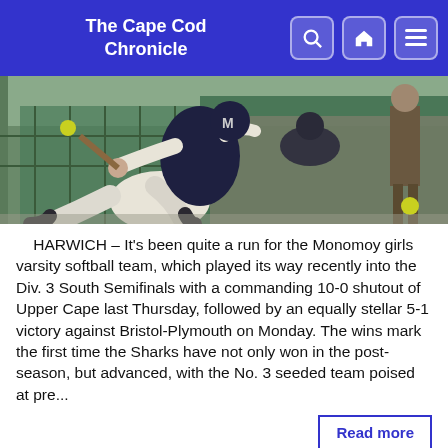The Cape Cod Chronicle
[Figure (photo): Softball player batting during a game, viewed from behind/side, wearing navy and white uniform. Spectators and green fence visible in background.]
HARWICH – It's been quite a run for the Monomoy girls varsity softball team, which played its way recently into the Div. 3 South Semifinals with a commanding 10-0 shutout of Upper Cape last Thursday, followed by an equally stellar 5-1 victory against Bristol-Plymouth on Monday. The wins mark the first time the Sharks have not only won in the post-season, but advanced, with the No. 3 seeded team poised at pre...
Read more
Monomoy Girls Tennis Advances To Semifinals